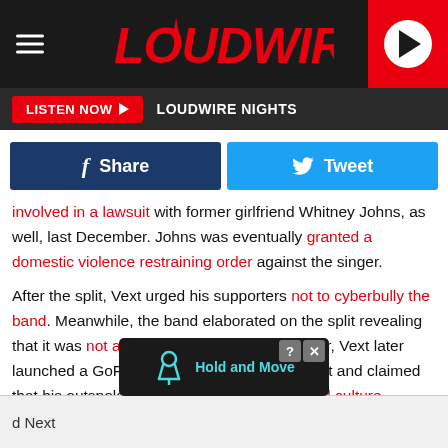LOUDWIRE
LISTEN NOW  LOUDWIRE NIGHTS
[Figure (screenshot): Facebook Share button (dark blue) and Twitter Tweet button (light blue)]
involved in a lawsuit with former girlfriend Whitney Johns, as well, last December. Johns was eventually granted a domestic violence restraining order against the singer.

After the split, Vext urged his supporters not to cyberbully the band. Meanwhile, the band elaborated on the split revealing that it was not about "cancel culture." However, Vext later launched a GoFundMe for his new solo project and claimed that his outspoken comments had led a cancel culture backlash that threatened to destroy his career.
[Figure (screenshot): Ad overlay with Hold and Move icon on dark background with close and info buttons]